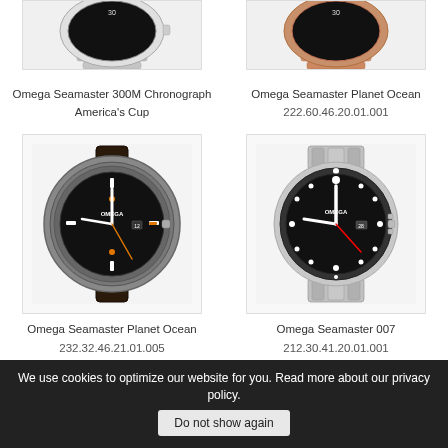[Figure (photo): Top portion of Omega Seamaster 300M Chronograph America's Cup watch on silver bracelet]
Omega Seamaster 300M Chronograph America's Cup
[Figure (photo): Top portion of Omega Seamaster Planet Ocean watch on rose gold bracelet]
Omega Seamaster Planet Ocean
222.60.46.20.01.001
[Figure (photo): Omega Seamaster Planet Ocean watch with black dial and leather strap]
Omega Seamaster Planet Ocean
232.32.46.21.01.005
[Figure (photo): Omega Seamaster 007 watch with black dial on steel bracelet]
Omega Seamaster 007
212.30.41.20.01.001
[Figure (photo): Top portion of Omega watch on steel bracelet (bottom partial)]
[Figure (photo): Top portion of Omega watch on bracelet (bottom partial)]
We use cookies to optimize our website for you. Read more about our privacy policy.
Do not show again